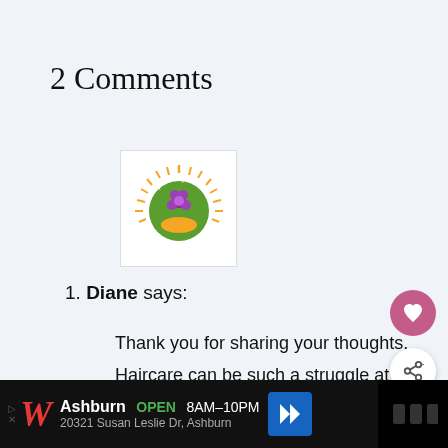2 Comments
[Figure (logo): Houseplant Joy logo - circular logo with sunburst rays, green leaf/plant and purple flower design, with text 'Houseplant Joy' around the circle]
1. Diane says:
Thank you for sharing your thoughts. Haircare can be such a struggle at times! I am glad you brought this product to my attention. With 3 of our daughters still
[Figure (infographic): Floating action buttons: pink heart button and white share button overlay on right side]
[Figure (infographic): What's Next overlay showing beauty product bottles with text: WHAT'S NEXT → The Best Drugstore...]
[Figure (infographic): Advertisement bar at bottom: Walgreens ad - Ashburn OPEN 8AM-10PM, 20321 Susan Leslie Dr, Ashburn, with blue navigation button]